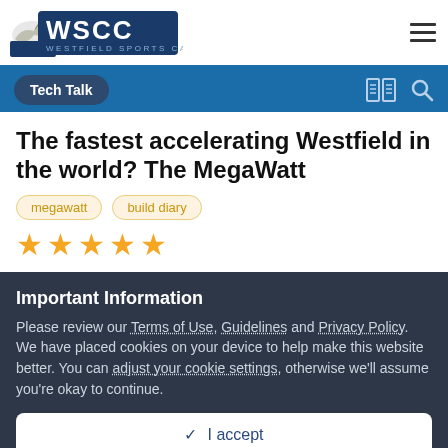WSCC Westfield Sports Car Club
Tech Talk
The fastest accelerating Westfield in the world? The MegaWatt
megawatt
build diary
★★★★★
Important Information
Please review our Terms of Use, Guidelines and Privacy Policy. We have placed cookies on your device to help make this website better. You can adjust your cookie settings, otherwise we'll assume you're okay to continue.
✓ I accept